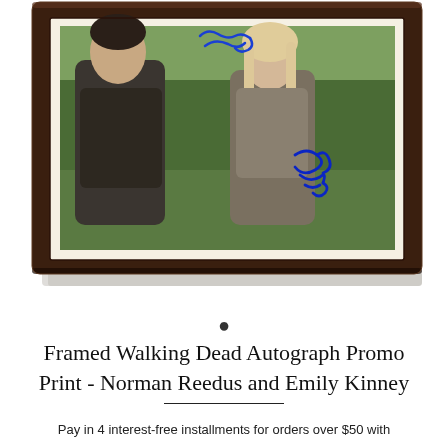[Figure (photo): Framed autographed photo of Norman Reedus and Emily Kinney from The Walking Dead, in a dark wooden frame with cream matting. The photo shows the two actors in character outdoors. Two autographs are visible in blue marker on the photo.]
Framed Walking Dead Autograph Promo Print - Norman Reedus and Emily Kinney
Pay in 4 interest-free installments for orders over $50 with